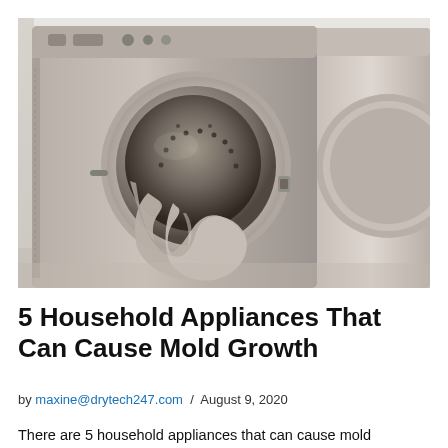[Figure (photo): Close-up photograph of a front-loading washing machine with its door open and towels tumbling out, next to a dryer on the right. Appliances are metallic/stainless steel in color.]
5 Household Appliances That Can Cause Mold Growth
by maxine@drytech247.com / August 9, 2020
There are 5 household appliances that can cause mold